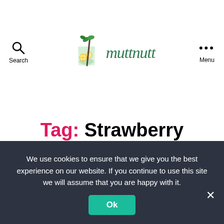Search | muttnutt | Menu
Tag: Strawberry
JUICE
Strawberry Arugula
We use cookies to ensure that we give you the best experience on our website. If you continue to use this site we will assume that you are happy with it.